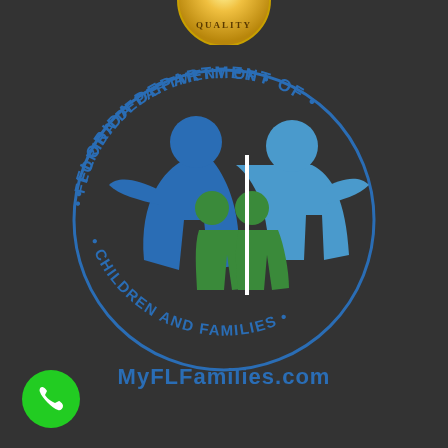[Figure (logo): Gold quality seal badge partially visible at top center]
[Figure (logo): Florida Department of Children and Families circular logo with stylized family figures in blue and green]
MyFLFamilies.com
[Figure (illustration): Green circle phone button in bottom left corner]